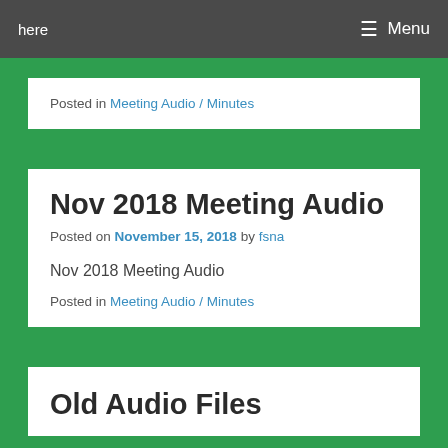here  ☰ Menu
Posted in Meeting Audio / Minutes
Nov 2018 Meeting Audio
Posted on November 15, 2018 by fsna
Nov 2018 Meeting Audio
Posted in Meeting Audio / Minutes
Old Audio Files